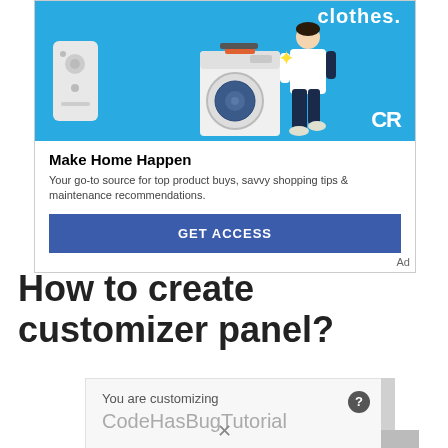[Figure (illustration): Advertisement banner showing a washing machine, a smart speaker, and a walking person against a blue background. CR logo in bottom right of image.]
Make Home Happen
Your go-to source for top product buys, savvy shopping tips & maintenance recommendations.
GET ACCESS
Ad
How to create customizer panel?
[Figure (screenshot): WordPress customizer panel showing 'You are customizing' label with 'CodeHasBugTutorial' site name, a help icon, and a scrollbar on the right side.]